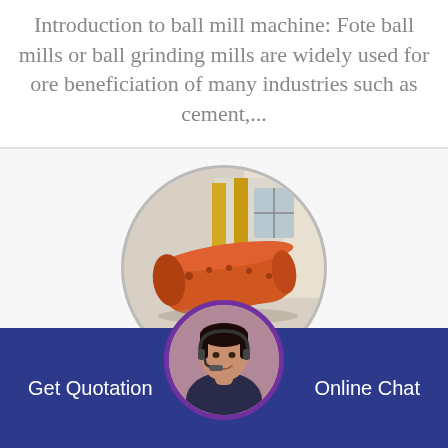Introduction to ball mill machine: Fote ball mills or ball grinding mills are widely used for ore beneficiation of many industries such as cement,...
[Figure (photo): Circular cropped photo of an industrial orange/red ball mill machine inside a factory building with yellow crane structures and white walls visible in the background.]
high efficiency ball mills
[Figure (photo): Circular photo of a female customer service agent wearing a headset microphone, smiling, shown from the shoulders up.]
Get Quotation
Online Chat